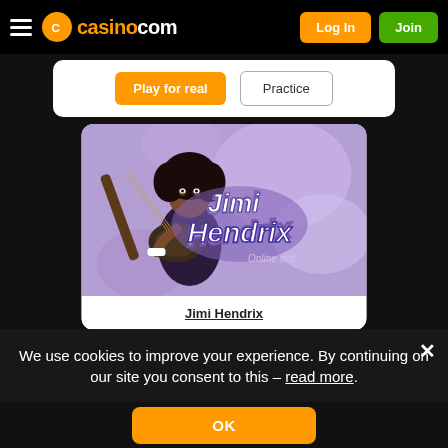casino.com — Log In | Join
Play for real | Practice
[Figure (illustration): Jimi Hendrix Online Slot game thumbnail showing an illustrated Jimi Hendrix playing guitar on a purple background with stylized Jimi Hendrix logo text]
Jimi Hendrix
We use cookies to improve your experience. By continuing on our site you consent to this – read more.
OK